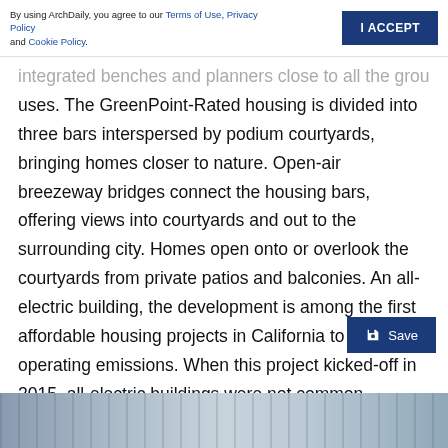By using ArchDaily, you agree to our Terms of Use, Privacy Policy and Cookie Policy.
integrated benches and planters close to all the ground floor uses. The GreenPoint-Rated housing is divided into three bars interspersed by podium courtyards, bringing homes closer to nature. Open-air breezeway bridges connect the housing bars, offering views into courtyards and out to the surrounding city. Homes open onto or overlook the courtyards from private patios and balconies. An all-electric building, the development is among the first affordable housing projects in California to have zero operating emissions. When this project kicked-off in 2015, all-electric buildings were not common. However, the non-profit developer believed this was the right direction, and the architect's progressive sustainability practice was a perfect fit.
[Figure (photo): Bottom portion of an architectural photograph showing a building exterior, partially visible at the bottom of the page.]